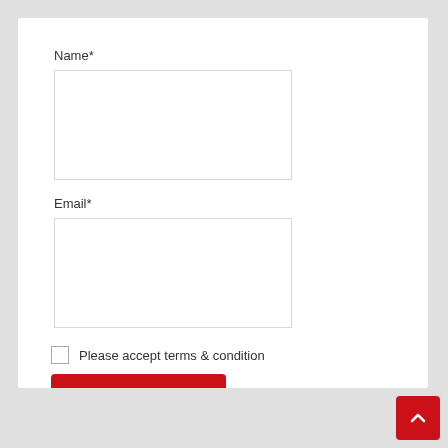Name*
[Figure (other): Empty text input field for Name]
Email*
[Figure (other): Empty text input field for Email]
Please accept terms & condition
Subscribe